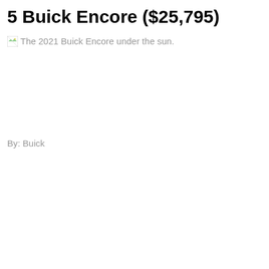5 Buick Encore ($25,795)
[Figure (photo): Broken image placeholder for the 2021 Buick Encore under the sun.]
The 2021 Buick Encore under the sun.
By: Buick